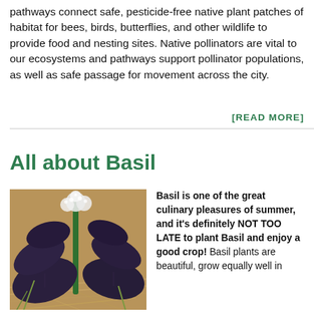pathways connect safe, pesticide-free native plant patches of habitat for bees, birds, butterflies, and other wildlife to provide food and nesting sites. Native pollinators are vital to our ecosystems and pathways support pollinator populations, as well as safe passage for movement across the city.
[READ MORE]
All about Basil
[Figure (photo): Photo of a basil plant with dark purple-green leaves and white flowering tops, growing in straw mulch]
Basil is one of the great culinary pleasures of summer, and it's definitely NOT TOO LATE to plant Basil and enjoy a good crop! Basil plants are beautiful, grow equally well in